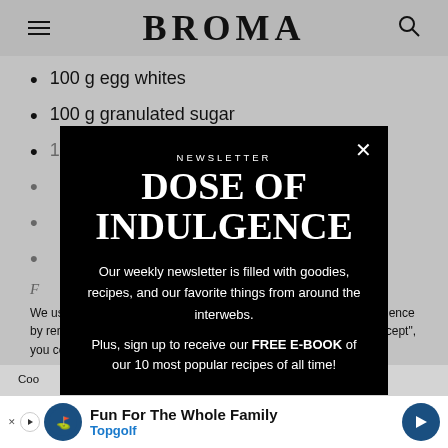BROMA
100 g egg whites
100 g granulated sugar
[partially obscured]
[partially obscured]
[partially obscured]
[partially obscured]
NEWSLETTER
DOSE OF INDULGENCE
Our weekly newsletter is filled with goodies, recipes, and our favorite things from around the interwebs.
Plus, sign up to receive our FREE E-BOOK of our 10 most popular recipes of all time!
We use cookies on our website to give you the most relevant experience by remembering your preferences and repeat visits. By clicking "Accept", you consent to the use of ALL the cookies.
Fun For The Whole Family
Topgolf